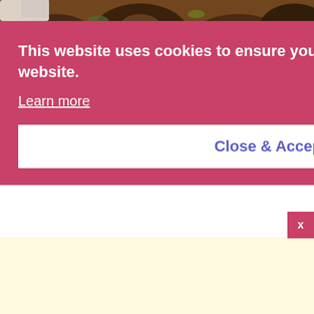[Figure (photo): Food photo at top - pork hock dish with soy sauce glaze]
This website uses cookies to ensure you get the best experience on our website.
Learn more
Close & Accept
pork hock dish slow-cooked until very tender in soy sauce, …
Lutong Recipes
[Figure (photo): Person's head/face partially visible below cookie banner]
[Figure (photo): Yellow advertisement banner at the bottom of the page]